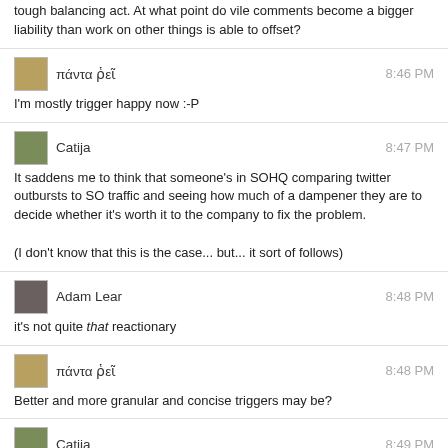tough balancing act. At what point do vile comments become a bigger liability than work on other things is able to offset?
πάντα ῥεῖ  8:46 PM
I'm mostly trigger happy now :-P
Catija  8:47 PM
It saddens me to think that someone's in SOHQ comparing twitter outbursts to SO traffic and seeing how much of a dampener they are to decide whether it's worth it to the company to fix the problem.
(I don't know that this is the case... but... it sort of follows)
Adam Lear  8:48 PM
it's not quite that reactionary
πάντα ῥεῖ  8:48 PM
Better and more granular and concise triggers may be?
Catija  8:49 PM
@AdamLear No, I'm sure that the large percentage of SO users are completely unaware of what's being discussed on MSO and Twitter.
πάντα ῥεῖ  8:49 PM
With a comment you're always personally in focus in 1st place
Catija  8:50 PM
I think the discussion is very important and I would really love to see some change.